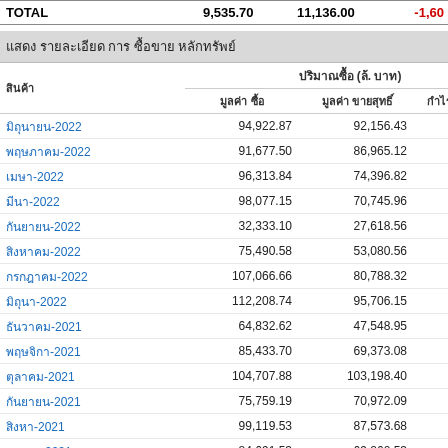|  | TOTAL |  |  |
| --- | --- | --- | --- |
| TOTAL | 9,535.70 | 11,136.00 | -1,60 |
█████ ████████ ███ █████████ ████████
| ████ | ████████ (██. ██████) |  |  |
| --- | --- | --- | --- |
| ██████-2022 | 94,922.87 | 92,156.43 | 2,766 |
| ██████-2022 | 91,677.50 | 86,965.12 | 4,712 |
| ███-2022 | 96,313.84 | 74,396.82 | 21,917 |
| ██-2022 | 98,077.15 | 70,745.96 | 27,331 |
| ███████-2022 | 32,333.10 | 27,618.56 | 4,714 |
| ██████-2022 | 75,490.58 | 53,080.56 | 22,410 |
| ███████-2022 | 107,066.66 | 80,788.32 | 26,278 |
| ██████-2022 | 112,208.74 | 95,706.15 | 16,502 |
| ████████-2021 | 64,832.62 | 47,548.95 | 17,283 |
| ███████-2021 | 85,433.70 | 69,373.08 | 16,060 |
| ████████-2021 | 104,707.88 | 103,198.40 | 1,509 |
| ████████-2021 | 75,759.19 | 70,972.09 | 4,787 |
| ██████-2021 | 99,119.53 | 87,573.68 | 11,545 |
| ███████-2021 | 84,691.53 | 69,260.53 | 15,431 |
| ███-2021 | 20,726.86 | 21,847.26 | -1,120 |
| ██-2021 | 74,835.88 | 74,676.77 | 159 |
| ███████-2021 | 60,954.13 | 55,020.75 | 5,933 |
| ██████-2021 | 76,583.04 | 74,106.59 | 2,476 |
| ██████-2021 | 73,584.79 | 89,890.82 | -16,306 |